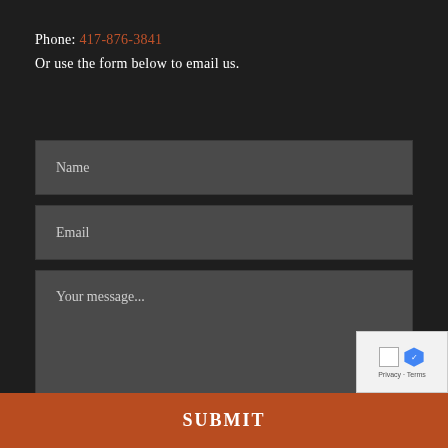Phone: 417-876-3841
Or use the form below to email us.
Name
Email
Your message...
SUBMIT